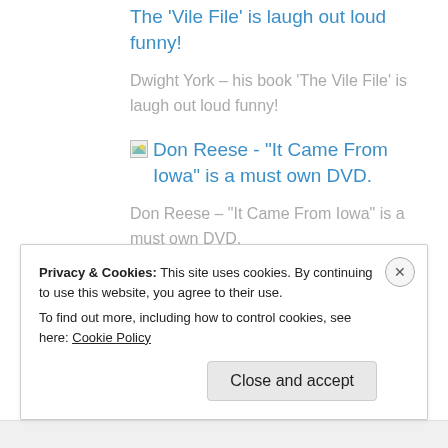The 'Vile File' is laugh out loud funny!
Dwight York – his book 'The Vile File' is laugh out loud funny!
Don Reese - "It Came From Iowa" is a must own DVD.
Don Reese – “It Came From Iowa” is a must own DVD.
Privacy & Cookies: This site uses cookies. By continuing to use this website, you agree to their use.
To find out more, including how to control cookies, see here: Cookie Policy